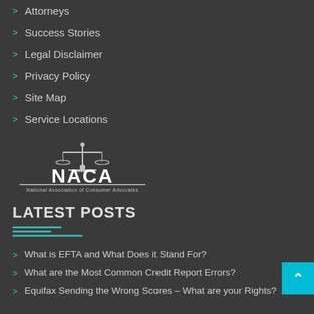Attorneys
Success Stories
Legal Disclaimer
Privacy Policy
Site Map
Service Locations
[Figure (logo): NACA - National Association of Consumer Advocates logo, white text on dark background with scales of justice icon]
LATEST POSTS
[Figure (other): Decorative horizontal divider lines in teal/cyan color]
What is EFTA and What Does it Stand For?
What are the Most Common Credit Report Errors?
Equifax Sending the Wrong Scores – What are your Rights?